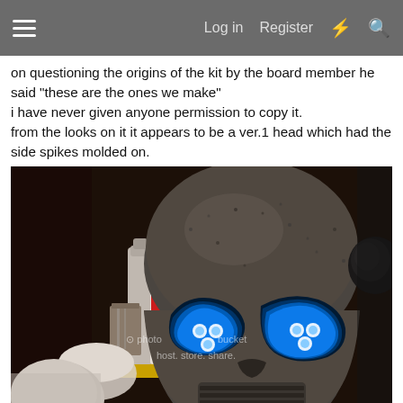Log in  Register
on questioning the origins of the kit by the board member he said "these are the ones we make"
i have never given anyone permission to copy it.
from the looks on it it appears to be a ver.1 head which had the side spikes molded on.
[Figure (photo): A metallic skull-like mask/helmet with glowing blue eye sockets and a ridged lower jaw/mouth area resembling a microphone grille. In the background are bottles and containers on a yellow surface. A photobucket watermark reads 'host. store. share.']